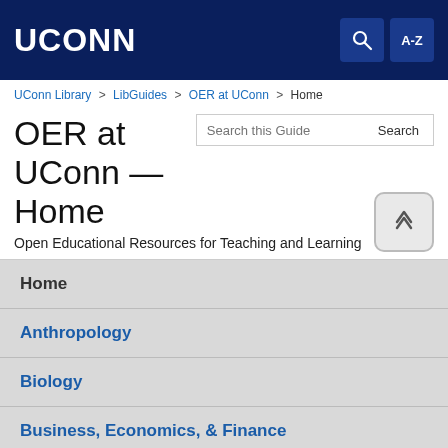UCONN
UConn Library > LibGuides > OER at UConn > Home
OER at UConn — Home
Open Educational Resources for Teaching and Learning
Home
Anthropology
Biology
Business, Economics, & Finance
Chemistry
Education
Engineering